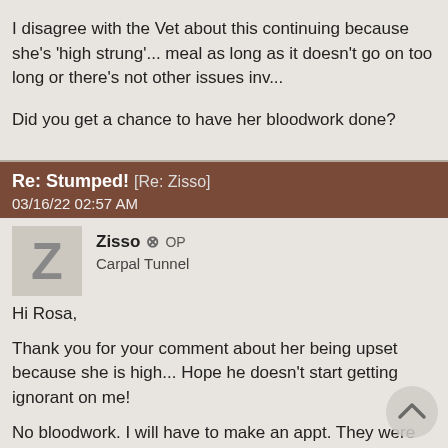I disagree with the Vet about this continuing because she's 'high strung'... meal as long as it doesn't go on too long or there's not other issues inv...
Did you get a chance to have her bloodwork done?
Re: Stumped! [Re: Zisso]
03/16/22 02:57 AM
Zisso OP
Carpal Tunnel
Hi Rosa,

Thank you for your comment about her being upset because she is high... Hope he doesn't start getting ignorant on me!

No bloodwork. I will have to make an appt. They were booked solid this...

I sure do hope this is the last of these messy problems for awhile! She... bathroom, close the door, pin her against the cabinet, pry her mouth op...

I did manage to order THK limited ingredient dehydrated chicken formu...